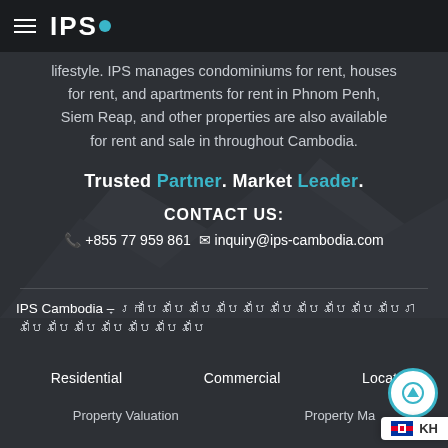IPS (logo with nav bar)
lifestyle. IPS manages condominiums for rent, houses for rent, and apartments for rent in Phnom Penh, Siem Reap, and other properties are also available for rent and sale in throughout Cambodia.
Trusted Partner. Market Leader.
CONTACT US:
+855 77 959 861  inquiry@ips-cambodia.com
IPS Cambodia – [Khmer text]
Residential   Commercial   Locations
Property Valuation   Property Management